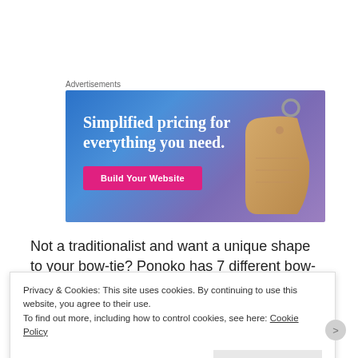Advertisements
[Figure (illustration): Advertisement banner with gradient blue-purple background showing text 'Simplified pricing for everything you need.' with a pink 'Build Your Website' button and a decorative price tag image on the right.]
Not a traditionalist and want a unique shape to your bow-tie? Ponoko has 7 different bow-tie templates for you to
Privacy & Cookies:  This site uses cookies.  By continuing to use this website, you agree to their use.
To find out more, including how to control cookies, see here: Cookie Policy
Close and accept
REPORT THIS AD